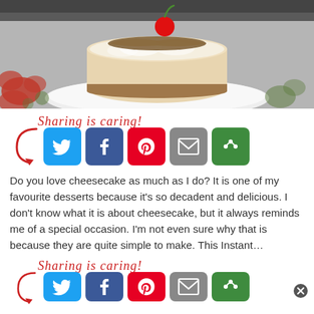[Figure (photo): A slice of cheesecake with a cherry on top, served on a white plate with a floral tablecloth]
[Figure (infographic): Sharing is caring! label with a red arrow pointing to social share buttons: Twitter (blue), Facebook (dark blue), Pinterest (red), Email (grey), More (green)]
Do you love cheesecake as much as I do? It is one of my favourite desserts because it's so decadent and delicious. I don't know what it is about cheesecake, but it always reminds me of a special occasion. I'm not even sure why that is because they are quite simple to make. This Instant…
[Figure (infographic): Sharing is caring! label with a red arrow pointing to social share buttons (partial, bottom of page): Twitter (blue), Facebook (dark blue), Pinterest (red), Email (grey), More (green) — partially cut off]